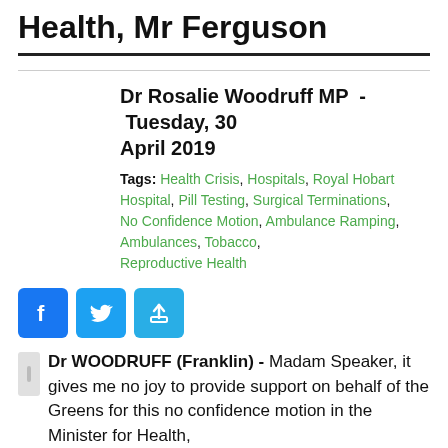Health, Mr Ferguson
Dr Rosalie Woodruff MP  -  Tuesday, 30 April 2019
Tags: Health Crisis, Hospitals, Royal Hobart Hospital, Pill Testing, Surgical Terminations, No Confidence Motion, Ambulance Ramping, Ambulances, Tobacco, Reproductive Health
[Figure (other): Social media share buttons: Facebook, Twitter, and a generic share button]
Dr WOODRUFF (Franklin) - Madam Speaker, it gives me no joy to provide support on behalf of the Greens for this no confidence motion in the Minister for Health,